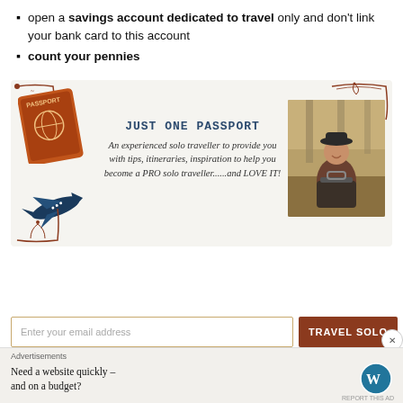open a savings account dedicated to travel only and don't link your bank card to this account
count your pennies
[Figure (infographic): Just One Passport blog promo box with passport icon, airplane icon, decorative border corners, text describing an experienced solo traveller blog, and a photo of a woman leaning on a suitcase outdoors.]
Enter your email address
TRAVEL SOLO
Advertisements
Need a website quickly – and on a budget?